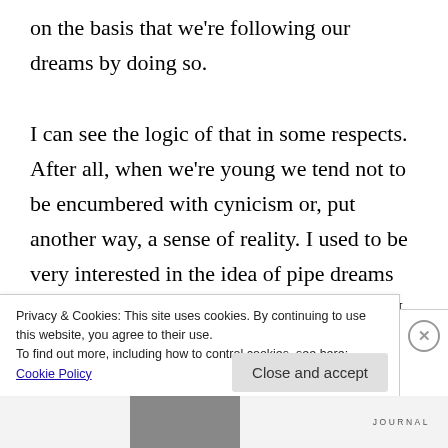on the basis that we're following our dreams by doing so.
I can see the logic of that in some respects. After all, when we're young we tend not to be encumbered with cynicism or, put another way, a sense of reality. I used to be very interested in the idea of pipe dreams and whether it was naive to pursue them. I ended up spending a few months
Privacy & Cookies: This site uses cookies. By continuing to use this website, you agree to their use.
To find out more, including how to control cookies, see here: Cookie Policy
Close and accept
JOURNAL